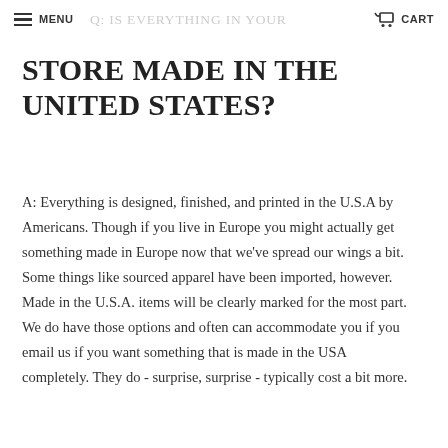MENU   Q: IS EVERYTHING IN YOUR   CART
STORE MADE IN THE UNITED STATES?
A: Everything is designed, finished, and printed in the U.S.A by Americans. Though if you live in Europe you might actually get something made in Europe now that we've spread our wings a bit. Some things like sourced apparel have been imported, however. Made in the U.S.A. items will be clearly marked for the most part. We do have those options and often can accommodate you if you email us if you want something that is made in the USA completely. They do - surprise, surprise - typically cost a bit more.